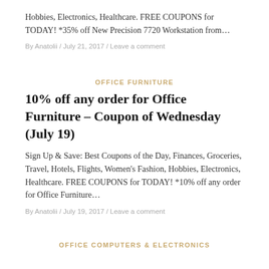Hobbies, Electronics, Healthcare. FREE COUPONS for TODAY! *35% off New Precision 7720 Workstation from...
By Anatolii / July 21, 2017 / Leave a comment
OFFICE FURNITURE
10% off any order for Office Furniture – Coupon of Wednesday (July 19)
Sign Up & Save: Best Coupons of the Day, Finances, Groceries, Travel, Hotels, Flights, Women's Fashion, Hobbies, Electronics, Healthcare. FREE COUPONS for TODAY! *10% off any order for Office Furniture...
By Anatolii / July 19, 2017 / Leave a comment
OFFICE COMPUTERS & ELECTRONICS